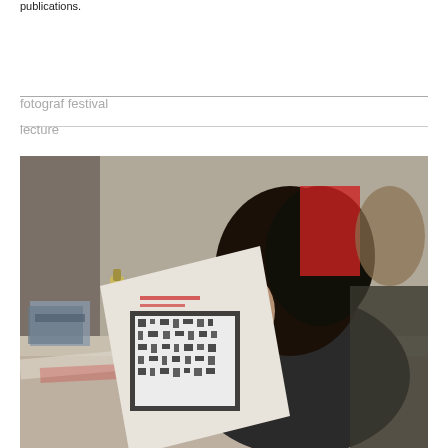publications.
fotograf festival
lecture
[Figure (photo): A woman with dark hair seen from behind and side, holding and reading a paper/booklet with a black and white printed image. She is sitting at a table with books, papers, and a bottle visible in the background. Other people are partially visible in the background.]